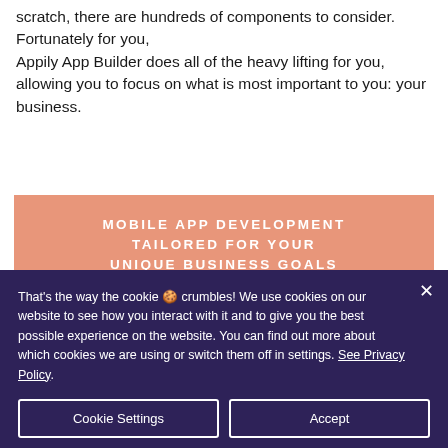scratch, there are hundreds of components to consider. Fortunately for you, Appily App Builder does all of the heavy lifting for you, allowing you to focus on what is most important to you: your business.
[Figure (infographic): Salmon/peach colored banner with white bold uppercase text reading: MOBILE APP DEVELOPMENT TAILORED FOR YOUR UNIQUE BUSINESS GOALS]
That's the way the cookie 🍪 crumbles! We use cookies on our website to see how you interact with it and to give you the best possible experience on the website. You can find out more about which cookies we are using or switch them off in settings. See Privacy Policy